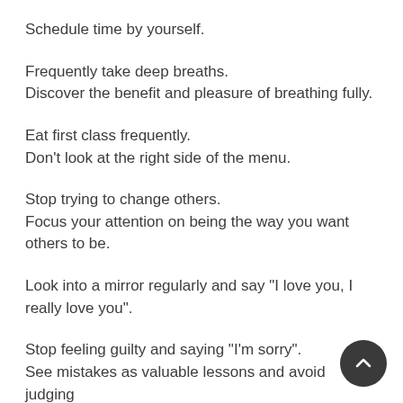Schedule time by yourself.
Frequently take deep breaths.
Discover the benefit and pleasure of breathing fully.
Eat first class frequently.
Don’t look at the right side of the menu.
Stop trying to change others.
Focus your attention on being the way you want others to be.
Look into a mirror regularly and say “I love you, I really love you”.
Stop feeling guilty and saying “I’m sorry”.
See mistakes as valuable lessons and avoid judging